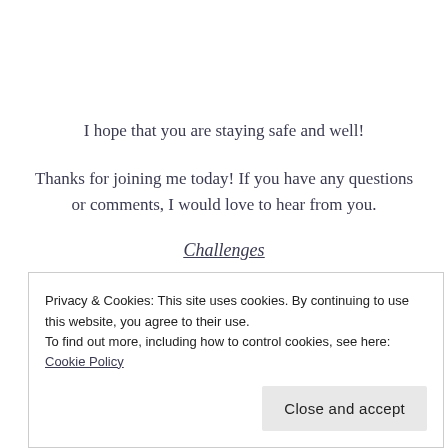I hope that you are staying safe and well!
Thanks for joining me today! If you have any questions or comments, I would love to hear from you.
Challenges
Privacy & Cookies: This site uses cookies. By continuing to use this website, you agree to their use.
To find out more, including how to control cookies, see here: Cookie Policy